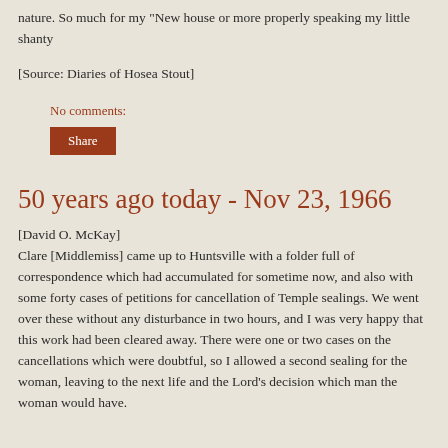nature. So much for my "New house or more properly speaking my little shanty
[Source: Diaries of Hosea Stout]
No comments:
Share
50 years ago today - Nov 23, 1966
[David O. McKay]
Clare [Middlemiss] came up to Huntsville with a folder full of correspondence which had accumulated for sometime now, and also with some forty cases of petitions for cancellation of Temple sealings. We went over these without any disturbance in two hours, and I was very happy that this work had been cleared away. There were one or two cases on the cancellations which were doubtful, so I allowed a second sealing for the woman, leaving to the next life and the Lord's decision which man the woman would have.